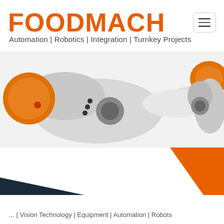FOODMACH
Automation | Robotics | Integration | Turnkey Projects
[Figure (photo): Industrial robotic arms with orange and silver coloring shown from a side/top angle against a white background, spanning the full width of the page.]
[Figure (infographic): Decorative diagonal geometric shapes: a dark navy blue triangle on the left and an orange triangle on the right, creating a dynamic visual band across the lower portion of the page.]
... | Vision Technology | Equipment | Automation | Robots